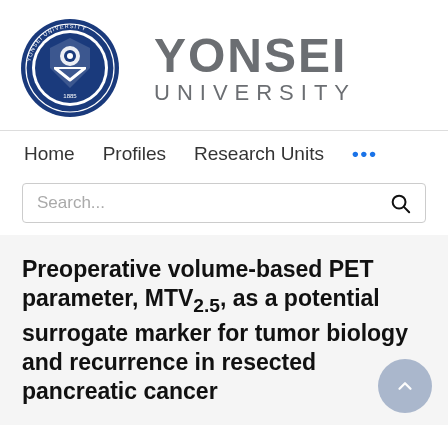[Figure (logo): Yonsei University circular seal/emblem in dark blue with text and shield design, alongside the text 'YONSEI UNIVERSITY' in large gray letters]
Home    Profiles    Research Units    ...
Search...
Preoperative volume-based PET parameter, MTV2.5, as a potential surrogate marker for tumor biology and recurrence in resected pancreatic cancer